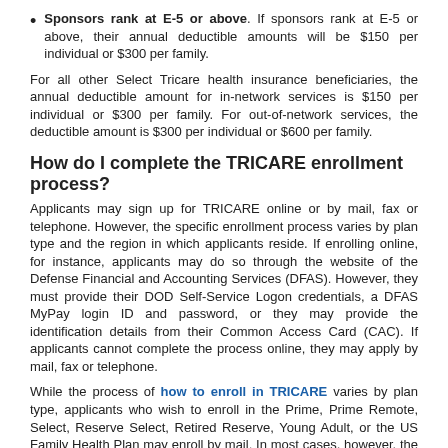Sponsors rank at E-5 or above. If sponsors rank at E-5 or above, their annual deductible amounts will be $150 per individual or $300 per family.
For all other Select Tricare health insurance beneficiaries, the annual deductible amount for in-network services is $150 per individual or $300 per family. For out-of-network services, the deductible amount is $300 per individual or $600 per family.
How do I complete the TRICARE enrollment process?
Applicants may sign up for TRICARE online or by mail, fax or telephone. However, the specific enrollment process varies by plan type and the region in which applicants reside. If enrolling online, for instance, applicants may do so through the website of the Defense Financial and Accounting Services (DFAS). However, they must provide their DOD Self-Service Logon credentials, a DFAS MyPay login ID and password, or they may provide the identification details from their Common Access Card (CAC). If applicants cannot complete the process online, they may apply by mail, fax or telephone.
While the process of how to enroll in TRICARE varies by plan type, applicants who wish to enroll in the Prime, Prime Remote, Select, Reserve Select, Retired Reserve, Young Adult, or the US Family Health Plan may enroll by mail. In most cases, however, the specific process of enrolling by mail varies depending on whether applicants reside Overseas or in the Western or Eastern U.S.